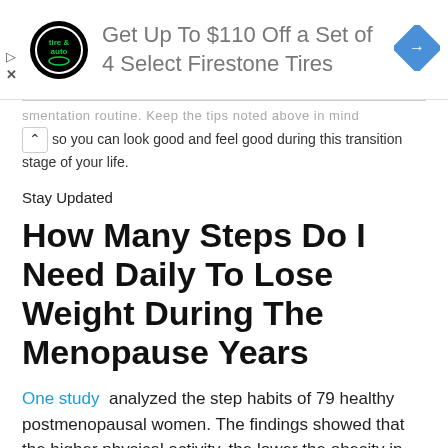[Figure (other): Advertisement banner for Firestone tires: 'Get Up To $110 Off a Set of 4 Select Firestone Tires' with tire & auto logo and blue diamond arrow icon]
smentation routine. Keep the tips noted above in mind so you can look good and feel good during this transition stage of your life.
Stay Updated
How Many Steps Do I Need Daily To Lose Weight During The Menopause Years
One study  analyzed the step habits of 79 healthy postmenopausal women. The findings showed that the higher physical activity, the lower the obesity in